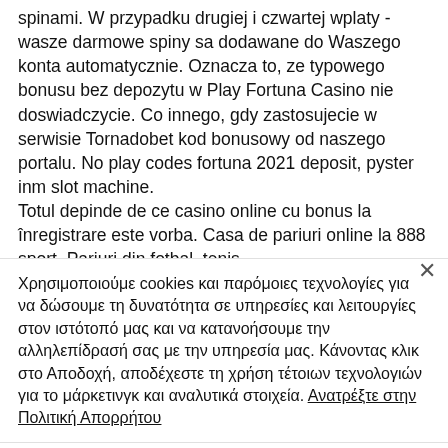spinami. W przypadku drugiej i czwartej wplaty - wasze darmowe spiny sa dodawane do Waszego konta automatycznie. Oznacza to, ze typowego bonusu bez depozytu w Play Fortuna Casino nie doswiadczycie. Co innego, gdy zastosujecie w serwisie Tornadobet kod bonusowy od naszego portalu. No play codes fortuna 2021 deposit, pyster inm slot machine.
Totul depinde de ce casino online cu bonus la înregistrare este vorba. Casa de pariuri online la 888 sport. Pariuri din fotbal, tenis
Χρησιμοποιούμε cookies και παρόμοιες τεχνολογίες για να δώσουμε τη δυνατότητα σε υπηρεσίες και λειτουργίες στον ιστότοπό μας και να κατανοήσουμε την αλληλεπίδρασή σας με την υπηρεσία μας. Κάνοντας κλικ στο Αποδοχή, αποδέχεστε τη χρήση τέτοιων τεχνολογιών για το μάρκετινγκ και αναλυτικά στοιχεία. Ανατρέξτε στην Πολιτική Απορρήτου
Ρυθμίσεις cookie
Αποδοχή